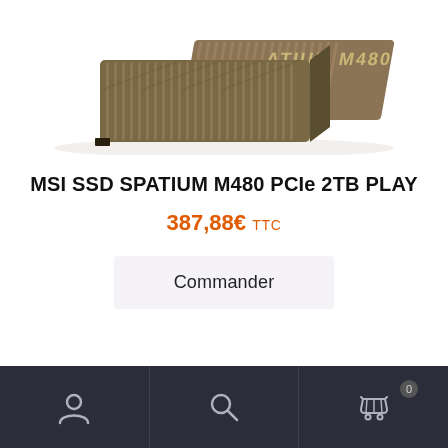[Figure (photo): MSI SPATIUM M480 NVMe SSD product photo showing the device with heatsink and branding, dark bronze/black color]
MSI SSD SPATIUM M480 PCIe 2TB PLAY
387,88€ TTC
Commander
Navigation bar with user account, search, and cart icons